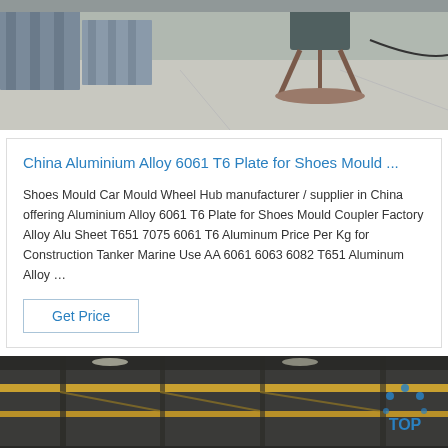[Figure (photo): Industrial factory/warehouse interior with aluminum plates and equipment on a concrete floor]
China Aluminium Alloy 6061 T6 Plate for Shoes Mould ...
Shoes Mould Car Mould Wheel Hub manufacturer / supplier in China offering Aluminium Alloy 6061 T6 Plate for Shoes Mould Coupler Factory Alloy Alu Sheet T651 7075 6061 T6 Aluminum Price Per Kg for Construction Tanker Marine Use AA 6061 6063 6082 T651 Aluminum Alloy …
Get Price
[Figure (photo): Large industrial warehouse or factory building interior with overhead crane beams and structural steel]